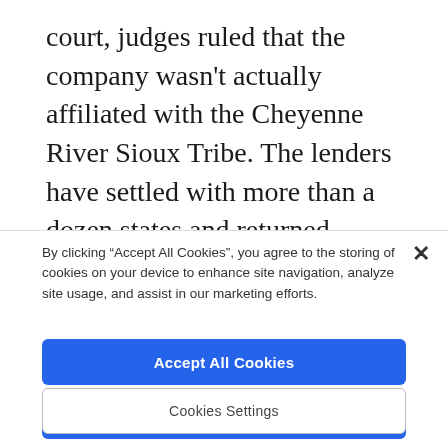court, judges ruled that the company wasn't actually affiliated with the Cheyenne River Sioux Tribe. The lenders have settled with more than a dozen states and returned millions of dollars to consumers.
But more commonly, judges dismiss these kinds of suits for lack of jurisdiction, citing the
By clicking “Accept All Cookies”, you agree to the storing of cookies on your device to enhance site navigation, analyze site usage, and assist in our marketing efforts.
Accept All Cookies
Reject All
Cookies Settings